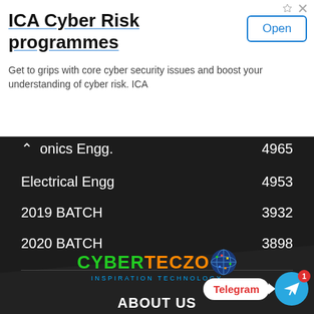[Figure (screenshot): Advertisement banner for ICA Cyber Risk programmes with Open button]
ICA Cyber Risk programmes
Get to grips with core cyber security issues and boost your understanding of cyber risk. ICA
onics Engg.   4965
Electrical Engg   4953
2019 BATCH   3932
2020 BATCH   3898
[Figure (logo): CYBERTECZO Inspiration Technology logo with globe icon]
[Figure (screenshot): Telegram notification bubble with blue circle icon and badge showing 1]
ABOUT US